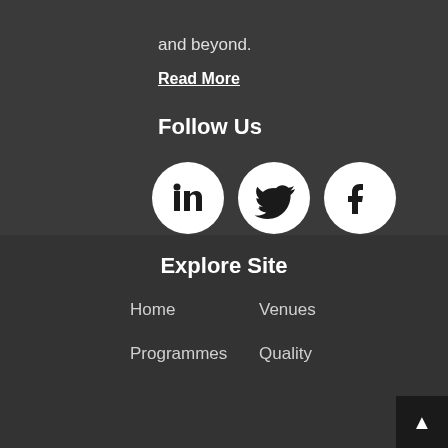and beyond.
Read More
Follow Us
[Figure (illustration): Three social media icons (LinkedIn, Twitter, Facebook) as white circles with black logos on dark background]
Explore Site
Home
Venues
Programmes
Quality